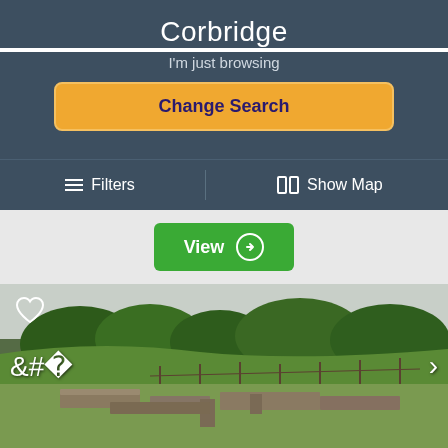Corbridge
I'm just browsing
Change Search
☰ Filters   | 🗺 Show Map
View →
[Figure (photo): Archaeological ruins of Corbridge Roman fort/town with stone foundations visible on a green grassy hillside with trees in the background. Heart icon top-left, left/right navigation arrows on sides.]
This website uses cookies. Click here to read our Privacy Policy. If that's okay with you, just keep browsing. CLOSE